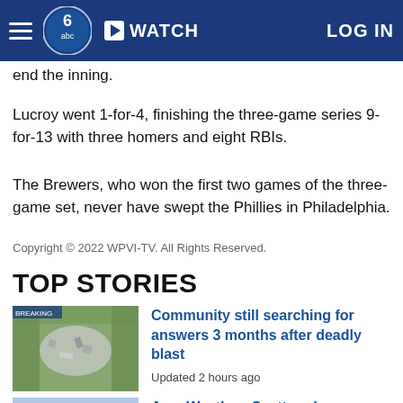WATCH  LOG IN
end the inning.
Lucroy went 1-for-4, finishing the three-game series 9-for-13 with three homers and eight RBIs.
The Brewers, who won the first two games of the three-game set, never have swept the Phillies in Philadelphia.
Copyright © 2022 WPVI-TV. All Rights Reserved.
TOP STORIES
Community still searching for answers 3 months after deadly blast
Updated 2 hours ago
AccuWeather: Scattered Downpours This